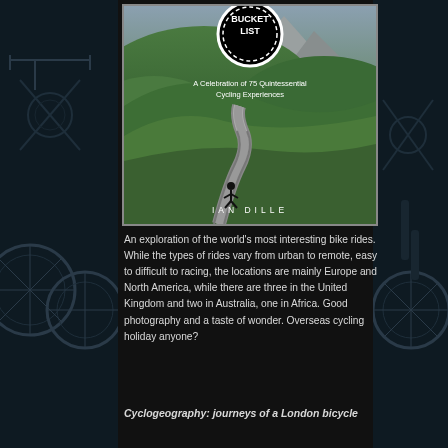[Figure (photo): Book cover: cycling bucket list book showing a winding road through green alpine hills with a cyclist, badge reading BUCKET LIST, subtitle 'A Celebration of 75 Quintessential Cycling Experiences', author IAN DILLE]
An exploration of the world's most interesting bike rides. While the types of rides vary from urban to remote, easy to difficult to racing, the locations are mainly Europe and North America, while there are three in the United Kingdom and two in Australia, one in Africa. Good photography and a taste of wonder. Overseas cycling holiday anyone?
Cyclogeography: journeys of a London bicycle